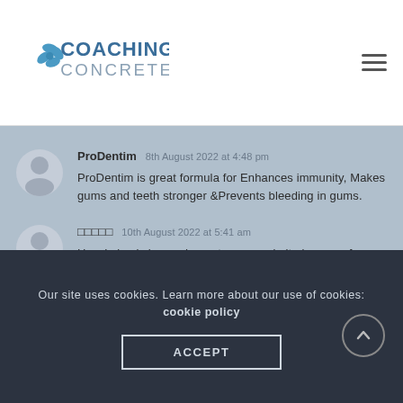COACHING CONCRETE
ProDentim · 8th August 2022 at 4:48 pm
ProDentim is great formula for Enhances immunity, Makes gums and teeth stronger & Prevents bleeding in gums.
□□□□□ · 10th August 2022 at 5:41 am
Hey, I simply hopped over to your website by way of StumbleUpon. No longer one thing I'd normally learn, but I preferred your
Our site uses cookies. Learn more about our use of cookies: cookie policy
ACCEPT